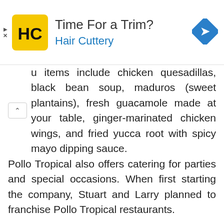[Figure (infographic): Hair Cuttery advertisement banner with logo, text 'Time For a Trim? Hair Cuttery', and a blue navigation arrow icon on the right.]
u items include chicken quesadillas, black bean soup, maduros (sweet plantains), fresh guacamole made at your table, ginger-marinated chicken wings, and fried yucca root with spicy mayo dipping sauce.
Pollo Tropical also offers catering for parties and special occasions. When first starting the company, Stuart and Larry planned to franchise Pollo Tropical restaurants.
However, they decided against it so that they could maintain complete control over the product and service at all of their locations. Over time they have been able to expand from a single restaurant into a